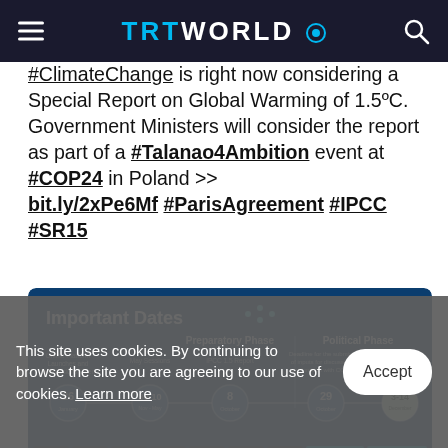TRT WORLD
#ClimateChange is right now considering a Special Report on Global Warming of 1.5ºC. Government Ministers will consider the report as part of a #Talanao4Ambition event at #COP24 in Poland >> bit.ly/2xPe6Mf #ParisAgreement #IPCC #SR15
[Figure (infographic): Important Dates infographic showing timeline with Preparatory Phase and Political Phase. Dates shown: 26 January (Online Platform Launches and Submissions Open), 30-10 (May Sessions), 8 October (IPCC 1.5 Report), 29 October (Deadline for submission of inputs for discussions in conjunction with COP24), 3-14 December (COP24). Timeline bar with colored segments at bottom.]
This site uses cookies. By continuing to browse the site you are agreeing to our use of cookies. Learn more